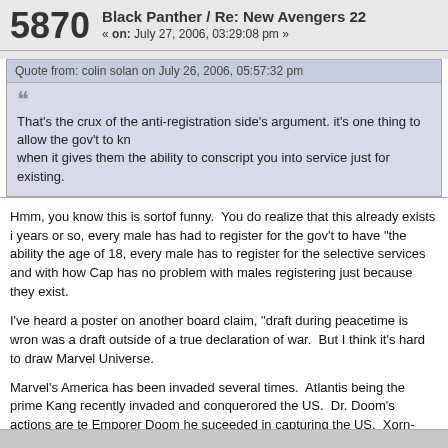5870 Black Panther / Re: New Avengers 22 « on: July 27, 2006, 03:29:08 pm »
Quote from: colin solan on July 26, 2006, 05:57:32 pm
That's the crux of the anti-registration side's argument. it's one thing to allow the gov't to kn when it gives them the ability to conscript you into service just for existing.
Hmm, you know this is sortof funny.  You do realize that this already exists i years or so, every male has had to register for the gov't to have "the ability the age of 18, every male has to register for the selective services and with how Cap has no problem with males registering just because they exist.
I've heard a poster on another board claim, "draft during peacetime is wron was a draft outside of a true declaration of war.  But I think it's hard to draw Marvel Universe.
Marvel's America has been invaded several times.  Atlantis being the prime Kang recently invaded and conquerored the US.  Dr. Doom's actions are te Emporer Doom he suceeded in capturing the US.  Xorn-Magneto captured incident.  So, this isn't so much  "peacetime".